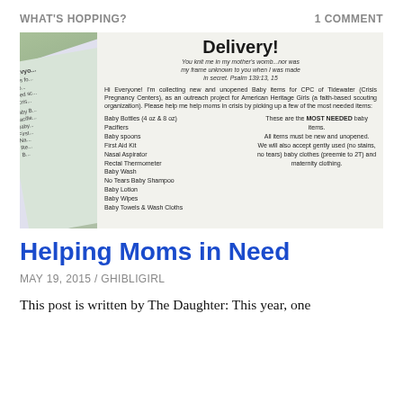WHAT'S HOPPING?    1 COMMENT
[Figure (photo): Photo of multiple printed flyers/bookmarks for a baby item donation drive for CPC of Tidewater, fanned out on a green cloth background. The visible flyer reads 'Delivery!' at top, includes a Bible verse (Psalm 139:13,15), intro text about collecting baby items, and lists needed items including Baby Bottles, Pacifiers, Baby spoons, First Aid Kit, Nasal Aspirator, Rectal Thermometer, Baby Wash, No Tears Baby Shampoo, Baby Lotion, Baby Wipes, Baby Towels & Wash Cloths. A note says these are the MOST NEEDED baby items, all new and unopened, and gently used baby clothes (preemie to 2T) and maternity clothing accepted.]
Helping Moms in Need
MAY 19, 2015 / GHIBLIGIRL
This post is written by The Daughter: This year, one